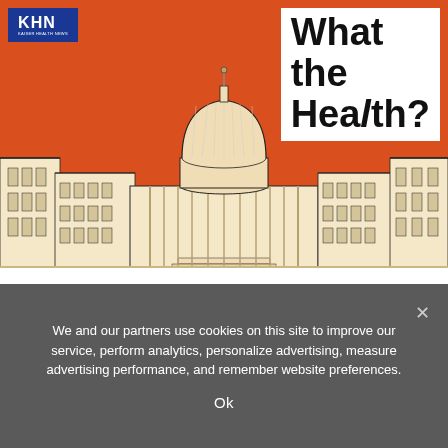[Figure (illustration): KHN 'What the Health?' podcast cover art showing an illustrated US Capitol building and surrounding government buildings on an orange background, with the KHN logo in the top-left and the title 'What the Health?' in a white box at the top-right.]
KHN’s ‘What the Health?’: The Autumn of Democrats’ Discontent
We and our partners use cookies on this site to improve our service, perform analytics, personalize advertising, measure advertising performance, and remember website preferences.
Ok